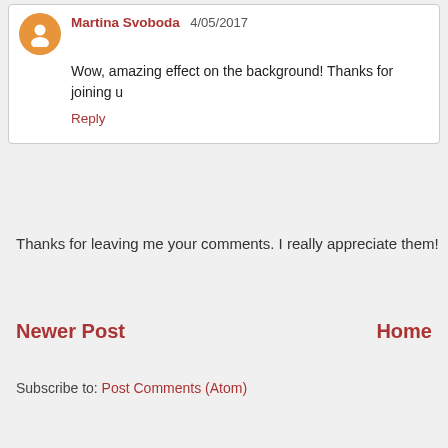Martina Svoboda 4/05/2017
Wow, amazing effect on the background! Thanks for joining u
Reply
Thanks for leaving me your comments. I really appreciate them!
Newer Post
Home
Subscribe to: Post Comments (Atom)